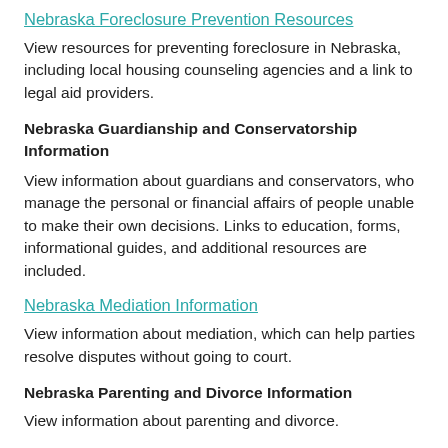Nebraska Foreclosure Prevention Resources
View resources for preventing foreclosure in Nebraska, including local housing counseling agencies and a link to legal aid providers.
Nebraska Guardianship and Conservatorship Information
View information about guardians and conservators, who manage the personal or financial affairs of people unable to make their own decisions. Links to education, forms, informational guides, and additional resources are included.
Nebraska Mediation Information
View information about mediation, which can help parties resolve disputes without going to court.
Nebraska Parenting and Divorce Information
View information about parenting and divorce.